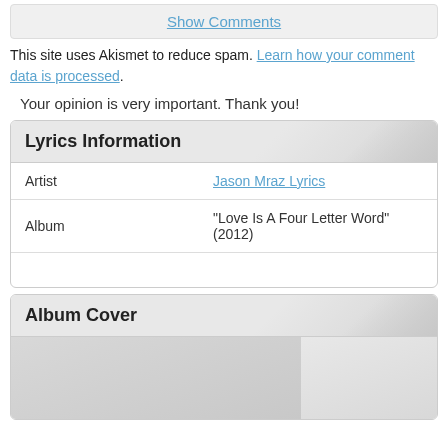Show Comments
This site uses Akismet to reduce spam. Learn how your comment data is processed.
Your opinion is very important. Thank you!
| Artist | Jason Mraz Lyrics |
| Album | "Love Is A Four Letter Word" (2012) |
Lyrics Information
Album Cover
[Figure (photo): Album cover image placeholder, partially visible]